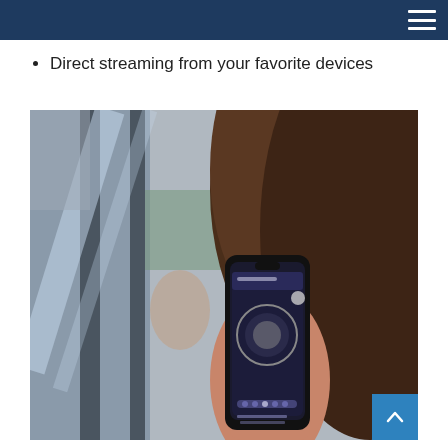Direct streaming from your favorite devices
[Figure (photo): A woman holding a smartphone that displays a hearing aid fitting app, with a mirror reflection visible in the background. The phone shows a circular hearing aid visualization on screen.]